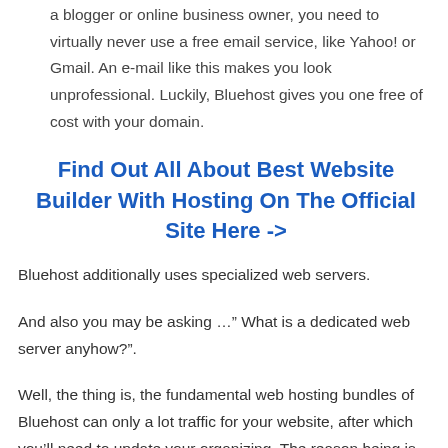a blogger or online business owner, you need to virtually never use a free email service, like Yahoo! or Gmail. An e-mail like this makes you look unprofessional. Luckily, Bluehost gives you one free of cost with your domain.
Find Out All About Best Website Builder With Hosting On The Official Site Here ->
Bluehost additionally uses specialized web servers.
And also you may be asking …" What is a dedicated web server anyhow?".
Well, the thing is, the fundamental web hosting bundles of Bluehost can only a lot traffic for your website, after which you'll need to update your organizing. The reason being is that the usual web servers, are shared.